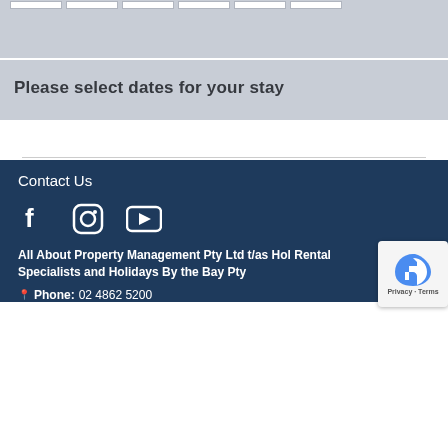[Figure (screenshot): Calendar date selector row with white input cells on a grey background]
Please select dates for your stay
Contact Us
[Figure (infographic): Social media icons: Facebook, Instagram, YouTube]
All About Property Management Pty Ltd t/as Hol Rental Specialists and Holidays By the Bay Pty
Phone: 02 4862 5200